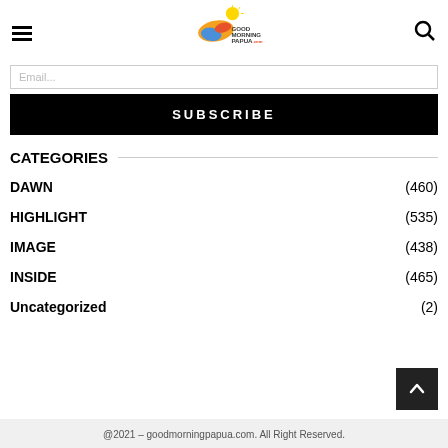Good Morning Papua - Navigation header with hamburger menu, logo, and search icon
Email...
SUBSCRIBE
CATEGORIES
DAWN (460)
HIGHLIGHT (535)
IMAGE (438)
INSIDE (465)
Uncategorized (2)
@2021 – goodmorningpapua.com. All Right Reserved.